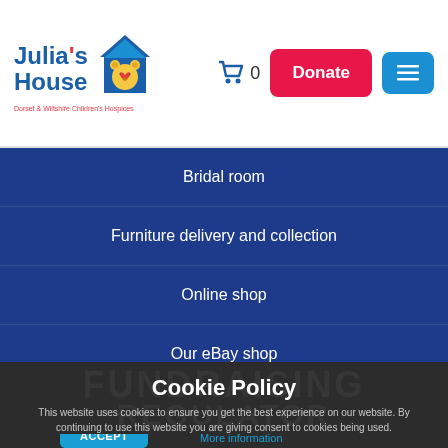[Figure (logo): Julia's House Dorset & Wiltshire Children's Hospices logo with a bear icon inside a house shape]
Bridal room
Furniture delivery and collection
Online shop
Our eBay shop
Cookie Policy
This website uses cookies to ensure you get the best experience on our website. By continuing to use this website you are giving consent to cookies being used.
ACCEPT   More information